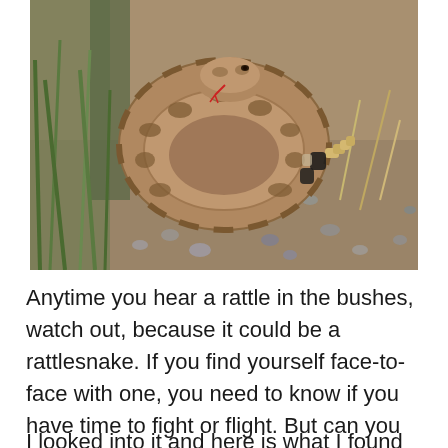[Figure (photo): A coiled rattlesnake resting on rocky gravel ground with green grass visible in the background. The snake has brown patterned scales with a visible rattle on its tail.]
Anytime you hear a rattle in the bushes, watch out, because it could be a rattlesnake. If you find yourself face-to-face with one, you need to know if you have time to fight or flight. But can you outrun a rattlesnake?
I looked into it and here is what I found out